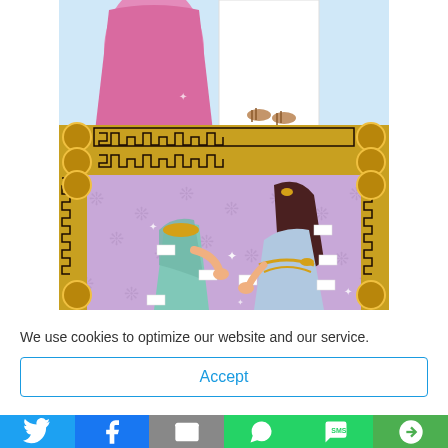[Figure (illustration): A Greek/ancient-themed paper doll illustration with two female figures in classical Greek robes (one in teal/mint, one in light blue) on a purple patterned background with gold Greek key border. White paper doll tabs visible. Top portion shows pink and white dresses/outfits on a light blue background.]
We use cookies to optimize our website and our service.
Accept